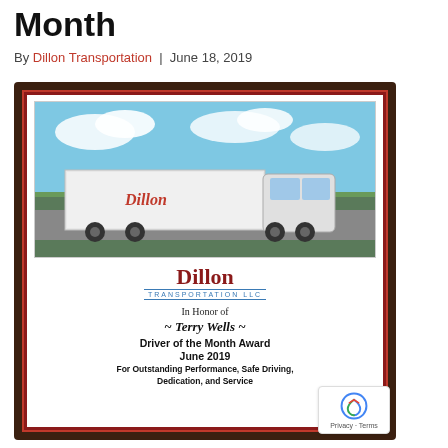Month
By Dillon Transportation | June 18, 2019
[Figure (photo): A photograph of a wooden award plaque for Dillon Transportation LLC. The plaque features a photo of a white Dillon semi-truck, the Dillon Transportation LLC logo, and text reading: In Honor of ~ Terry Wells ~ Driver of the Month Award June 2019 For Outstanding Performance, Safe Driving, Dedication, and Service]